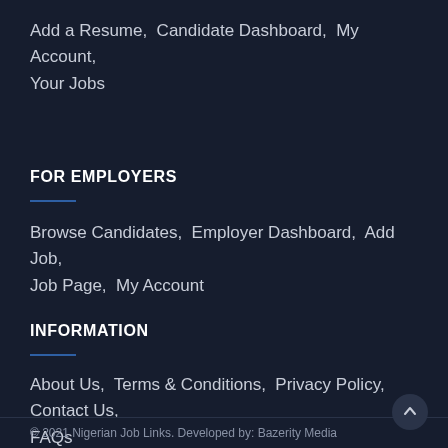Add a Resume,  Candidate Dashboard,  My Account,  Your Jobs
FOR EMPLOYERS
Browse Candidates,  Employer Dashboard,  Add Job,  Job Page,  My Account
INFORMATION
About Us,  Terms & Conditions,  Privacy Policy,  Contact Us,  FAQs
© 2021 Nigerian Job Links. Developed by: Bazerity Media